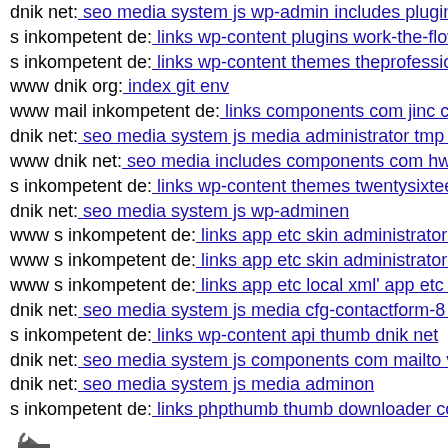dnik net: seo media system js wp-admin includes plugins
s inkompetent de: links wp-content plugins work-the-flow-
s inkompetent de: links wp-content themes theprofessional
www dnik org: index git env
www mail inkompetent de: links components com jinc cla
dnik net: seo media system js media administrator tmp up
www dnik net: seo media includes components com hwdv
s inkompetent de: links wp-content themes twentysixteen 4
dnik net: seo media system js wp-adminen
www s inkompetent de: links app etc skin administrator w
www s inkompetent de: links app etc skin administrator co
www s inkompetent de: links app etc local xml' app etc ad
dnik net: seo media system js media cfg-contactform-8 inc
s inkompetent de: links wp-content api thumb dnik net
dnik net: seo media system js components com mailto view
dnik net: seo media system js media adminon
s inkompetent de: links phpthumb thumb downloader com
[Figure (illustration): Small arrow/navigation icon pointing left]
dnik net: seo media media system js index inc php
dnik net: seo mediaqe
dnik net: seo media system vendor phpunit phpunit src